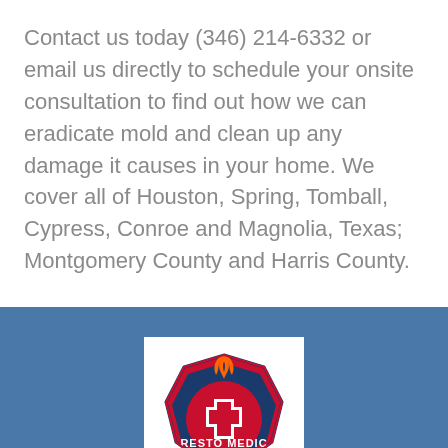Contact us today (346) 214-6332 or email us directly to schedule your onsite consultation to find out how we can eradicate mold and clean up any damage it causes in your home. We cover all of Houston, Spring, Tomball, Cypress, Conroe and Magnolia, Texas; Montgomery County and Harris County.
[Figure (logo): Resto Medic Emergency Mitigation Services logo — red and blue shield/badge shape with flames and a medical cross, text reads RESTO MEDIC]
Founded in 2018, Resto Medic has taken pride in fast response times and excellent service. We are a fire or water damage restoration and mold remediation company. We are trained, equipped, and ready to restore your home or business after any